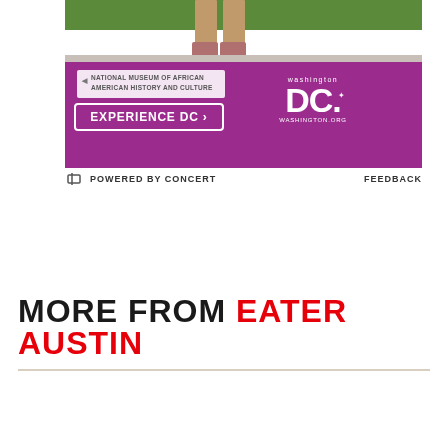[Figure (photo): Advertisement for Washington DC tourism featuring National Museum of African American History and Culture. Purple background with 'EXPERIENCE DC >' button and Washington DC logo.]
POWERED BY CONCERT     FEEDBACK
MORE FROM EATER AUSTIN